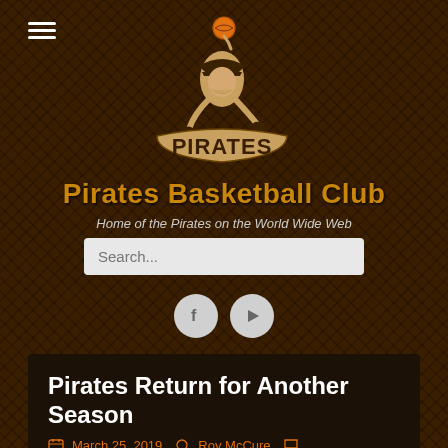[Figure (logo): Pirates Basketball Club logo with pirate mascot holding a basketball above his head, wearing a tricorn hat, with 'PIRATES' text in gold/brown lettering]
Pirates Basketball Club
Home of the Pirates on the World Wide Web
Search...
[Figure (illustration): Social media icons: Facebook (f) and YouTube (play button), both in circular grey buttons]
Pirates Return for Another Season
March 25, 2019  Roy McCure  Leave a comment
After a brief break, the Pirates were back at it again on Monday night when they took on the Cannons in their